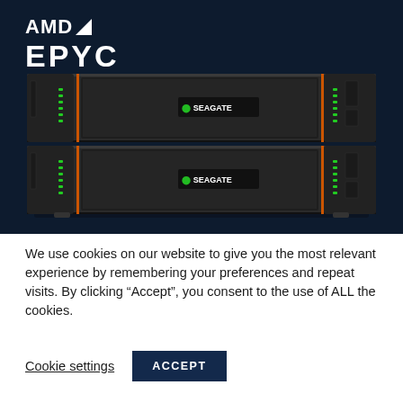[Figure (photo): AMD EPYC logo in white on dark navy background, above a photo of two stacked Seagate rack-mounted storage servers on dark navy background]
We use cookies on our website to give you the most relevant experience by remembering your preferences and repeat visits. By clicking “Accept”, you consent to the use of ALL the cookies.
Cookie settings
ACCEPT